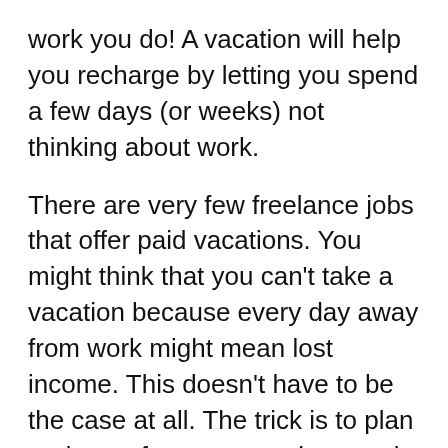work you do! A vacation will help you recharge by letting you spend a few days (or weeks) not thinking about work.
There are very few freelance jobs that offer paid vacations. You might think that you can't take a vacation because every day away from work might mean lost income. This doesn't have to be the case at all. The trick is to plan and save for your vacation way in advance.
Having a stress-free vacation means careful planning. Make sure that you set aside some money from every paycheck for your trip, as well as have money in the bank left to live on